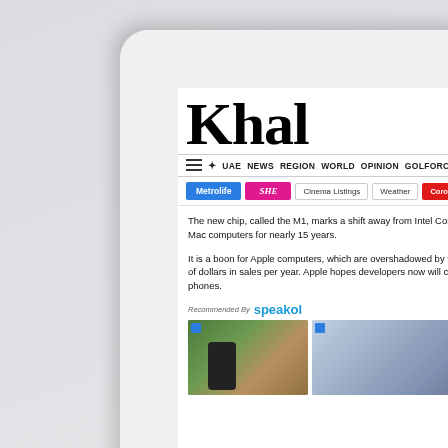[Figure (screenshot): A tablet device screenshot showing the Khaleej Times news website. The screen shows the newspaper masthead 'Khal...' in black serif blackletter font, a navigation bar with icons and links (UAE, NEWS, REGION, WORLD, OPINION, GOLFORCE, LEGAL VE), category tabs (Metrolife in blue, SHE in pink, Cinema Listings, Weather, Coronavirus Pa...), article text about Apple's M1 chip, a 'Recommended By speakol' bar, and two thumbnail images at the bottom.]